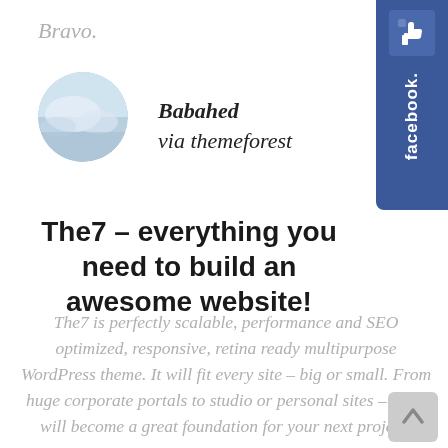Bravo.
[Figure (other): Facebook like badge — blue vertical banner with thumbs up icon and 'facebook' text rotated vertically]
[Figure (photo): Circular profile avatar photo showing a misty/cloudy sky scene]
Babahed
via themeforest
The7 – everything you need to build an awesome website!
The7 is perfectly scalable, performance and SEO optimized, responsive, retina ready multipurpose WordPress theme. It will fit every site – big or small. From huge corporate portals to studio or personal sites – The7 will become a great foundation for your next project!